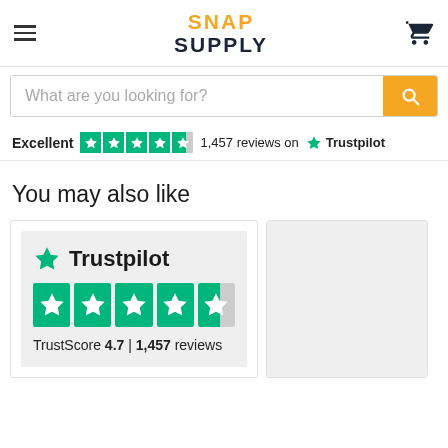Snap Supply
What are you looking for?
Excellent ★★★★½ 1,457 reviews on ★ Trustpilot
You may also like
[Figure (screenshot): Trustpilot widget showing TrustScore 4.7 with 1,457 reviews and 4.5 green star rating]